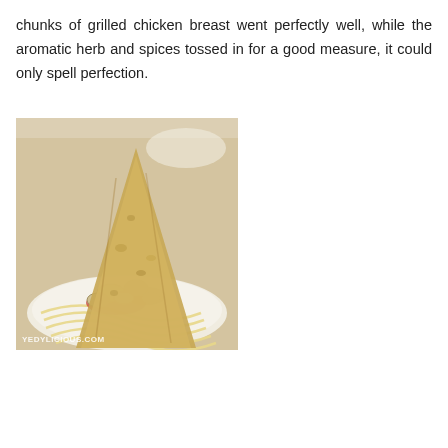chunks of grilled chicken breast went perfectly well, while the aromatic herb and spices tossed in for a good measure, it could only spell perfection.
[Figure (photo): Two side-by-side food photos showing pasta dishes with a large piece of flatbread/pita standing upright, topped with grilled chicken, mushrooms, and tomato sauce on a bed of fettuccine pasta. Left photo has watermark YEDYLICIOUS.COM.]
Don Vito is known as the best place on the island where you can find an authentic hand-tossed pizza baked in traditional brick…